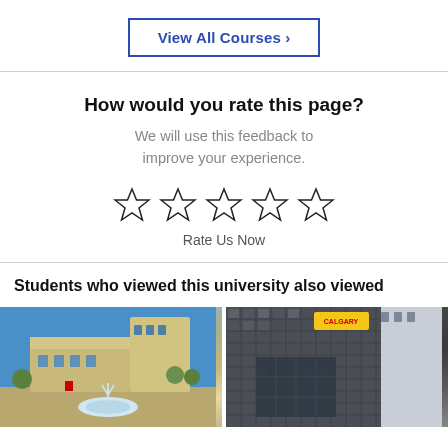View All Courses ›
How would you rate this page?
We will use this feedback to improve your experience.
☆ ☆ ☆ ☆ ☆
Rate Us Now
Students who viewed this university also viewed
[Figure (photo): University campus building with fountain in foreground and blue sky]
[Figure (photo): Modern university building with metallic facade, University of Calgary signage visible]